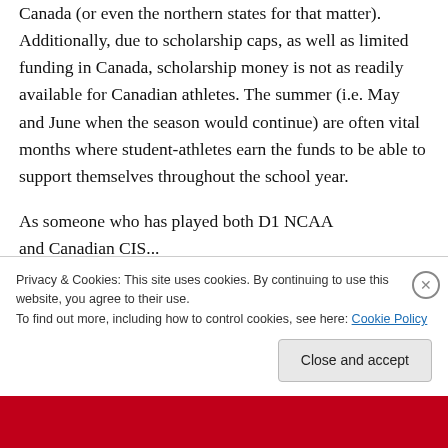Canada (or even the northern states for that matter). Additionally, due to scholarship caps, as well as limited funding in Canada, scholarship money is not as readily available for Canadian athletes. The summer (i.e. May and June when the season would continue) are often vital months where student-athletes earn the funds to be able to support themselves throughout the school year.
As someone who has played both D1 NCAA and Canadian CIS...
Privacy & Cookies: This site uses cookies. By continuing to use this website, you agree to their use.
To find out more, including how to control cookies, see here: Cookie Policy